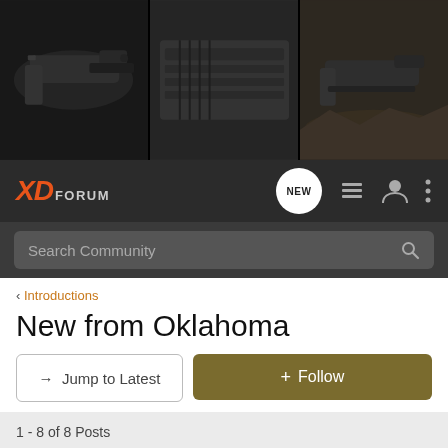[Figure (photo): Banner with three firearms photos side by side: handgun on dark background (left), close-up of pistol slide markings (center), and pistol on rocky surface (right)]
[Figure (logo): XD Forum logo with orange XD italic text and gray FORUM text, with NEW bubble icon, list icon, user icon, and vertical dots menu icon]
Search Community
< Introductions
New from Oklahoma
→ Jump to Latest
+ Follow
1 - 8 of 8 Posts
Daywalker · Registered
Joined Jan 17, 2013 · 3 Posts